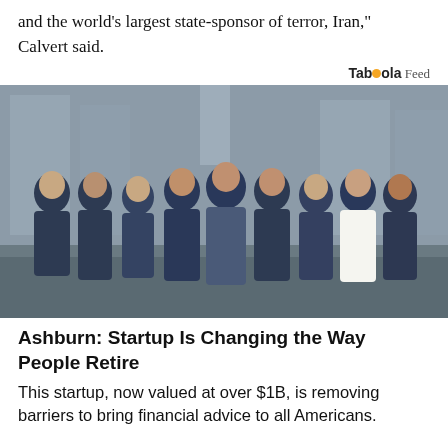and the world's largest state-sponsor of terror, Iran," Calvert said.
Taboola Feed
[Figure (photo): Group photo of roughly a dozen people wearing SmartAsset branded t-shirts standing on a cobblestone street in an urban setting.]
Ashburn: Startup Is Changing the Way People Retire
This startup, now valued at over $1B, is removing barriers to bring financial advice to all Americans.